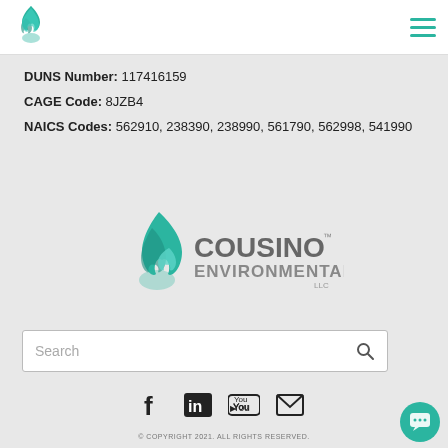[Figure (logo): Cousino Environmental LLC flame logo in header, blue/teal]
[Figure (illustration): Hamburger menu icon (three horizontal teal lines) in top-right header]
DUNS Number: 117416159
CAGE Code: 8JZB4
NAICS Codes: 562910, 238390, 238990, 561790, 562998, 541990
[Figure (logo): Cousino Environmental LLC centered logo with blue flame and gray text]
[Figure (other): Search bar with placeholder text 'Search' and magnifying glass icon]
[Figure (other): Social media icons: Facebook, LinkedIn, YouTube, Email]
© COPYRIGHT 2021. ALL RIGHTS RESERVED.
[Figure (other): Teal circular chat bubble button in bottom-right corner]